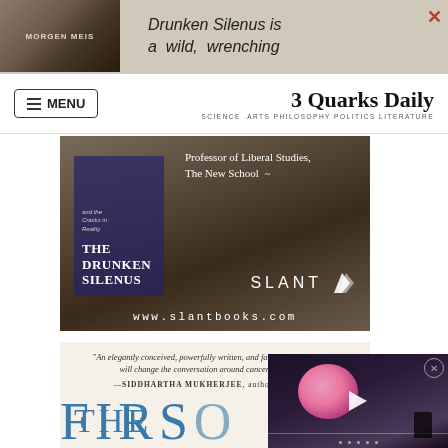[Figure (photo): Top advertisement banner for 'The Drunken Silenus' book by Morgen Meis, showing book cover image and italic text 'Drunken Silenus is a wild, wrenching']
3 Quarks Daily — SCIENCE ARTS PHILOSOPHY POLITICS LITERATURE
[Figure (photo): Advertisement for 'The Drunken Silenus' book published by Slant Books, showing book cover with title 'THE DRUNKEN SILENUS', text 'Professor of Liberal Studies, The New School', Slant logo, and URL www.slantbooks.com]
[Figure (photo): Second book advertisement with quote: 'An elegantly conceived, powerfully written, and far-reaching book that will change the conversation around cancer for decades' — SIDDHARTHA MUKHERJEE, author of The Em... Partial book title 'THE' visible in blue serif text]
[Figure (photo): Video player overlay showing a pink/red moon or balloon against a dark night sky with a silhouetted structure, with a white play button triangle in the center and a close X button]